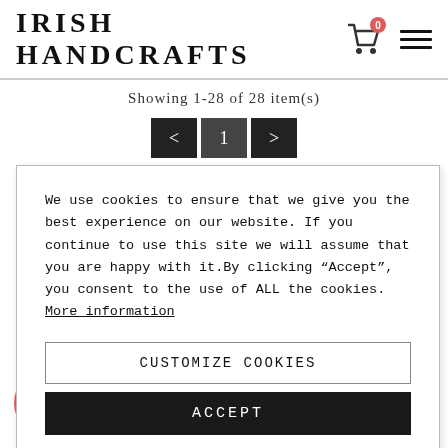IRISH HANDCRAFTS
Showing 1-28 of 28 item(s)
< 1 >
We use cookies to ensure that we give you the best experience on our website. If you continue to use this site we will assume that you are happy with it.By clicking "Accept", you consent to the use of ALL the cookies. More information
CUSTOMIZE COOKIES
ACCEPT
CUSTOMER SERVICE